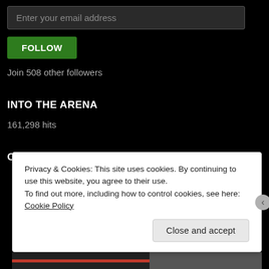Enter your email address
FOLLOW
Join 508 other followers
INTO THE ARENA
161,298 hits
COOL RAMBLING'S O ROCK
Privacy & Cookies: This site uses cookies. By continuing to use this website, you agree to their use.
To find out more, including how to control cookies, see here: Cookie Policy
Close and accept